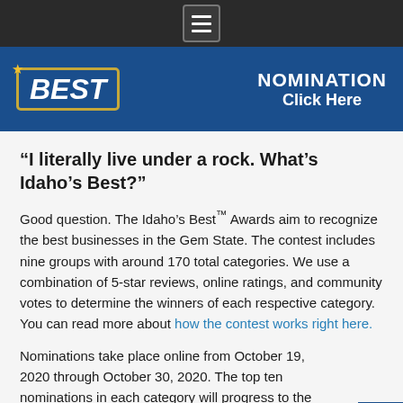Menu
[Figure (illustration): Blue banner with 'BEST' logo in bordered box with star, and text 'NOMINATION Click Here' in white on blue background]
“I literally live under a rock. What’s Idaho’s Best?”
Good question. The Idaho’s Best™ Awards aim to recognize the best businesses in the Gem State. The contest includes nine groups with around 170 total categories. We use a combination of 5-star reviews, online ratings, and community votes to determine the winners of each respective category. You can read more about how the contest works right here.
Nominations take place online from October 19, 2020 through October 30, 2020. The top ten nominations in each category will progress to the voting round.